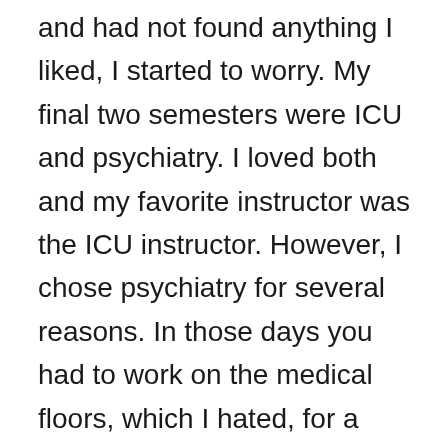and had not found anything I liked, I started to worry. My final two semesters were ICU and psychiatry. I loved both and my favorite instructor was the ICU instructor. However, I chose psychiatry for several reasons. In those days you had to work on the medical floors, which I hated, for a couple of years before you could work in an ICU. Also this was before the era of fitted sheets and I could not make an adequate corner. The Psych Unit loved me and offered me a part time job as a psych tech before I graduated. My future was